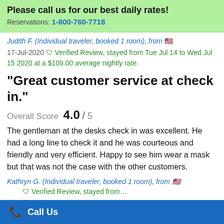Please call us for our best daily rates!
Reservations: 1-800-760-7718
Judith F. (Individual traveler, booked 1 room), from 🇺🇸
17-Jul-2020 🛡 Verified Review, stayed from Tue Jul 14 to Wed Jul 15 2020 at a $109.00 average nightly rate.
"Great customer service at check in."
Overall Score  4.0 / 5
The gentleman at the desks check in was excellent. He had a long line to check it and he was courteous and friendly and very efficient. Happy to see him wear a mask but that was not the case with the other customers.
Kathryn G. (Individual traveler, booked 1 room), from 🇺🇸
Call Us